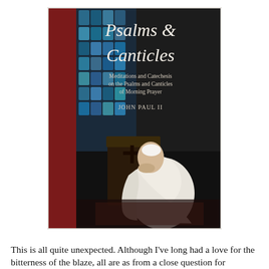[Figure (illustration): Book cover of 'Psalms & Canticles: Meditations and Catechesis on the Psalms and Canticles of Morning Prayer' by John Paul II. The cover shows a dark background with stained glass on the left side, and Pope John Paul II kneeling in white papal robes in prayer at a prie-dieu. The title 'Psalms & Canticles' is in large italic serif font at the top right, with subtitle and author name below.]
This is all quite unexpected. Although I've long had a love for the bitterness of the blaze, all are as from a close question for